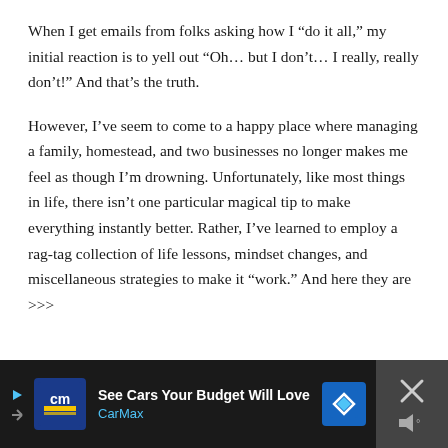When I get emails from folks asking how I “do it all,” my initial reaction is to yell out “Oh… but I don’t… I really, really don’t!” And that’s the truth.
However, I’ve seem to come to a happy place where managing a family, homestead, and two businesses no longer makes me feel as though I’m drowning. Unfortunately, like most things in life, there isn’t one particular magical tip to make everything instantly better. Rather, I’ve learned to employ a rag-tag collection of life lessons, mindset changes, and miscellaneous strategies to make it “work.” And here they are >>>
[Figure (other): CarMax advertisement banner at the bottom. Dark background with CarMax logo (blue square with 'cm' text), headline 'See Cars Your Budget Will Love', CarMax subtext in blue, a blue diamond navigation icon, and a close panel with an X icon on the right.]